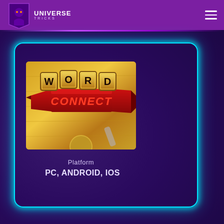UNIVERSE TRICKS
[Figure (illustration): Word Connect game logo showing letter tiles spelling WORD on a golden background with a red ribbon banner and CONNECT text below]
Platform
PC, ANDROID, IOS